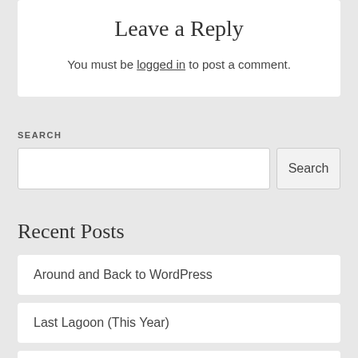Leave a Reply
You must be logged in to post a comment.
SEARCH
Search
Recent Posts
Around and Back to WordPress
Last Lagoon (This Year)